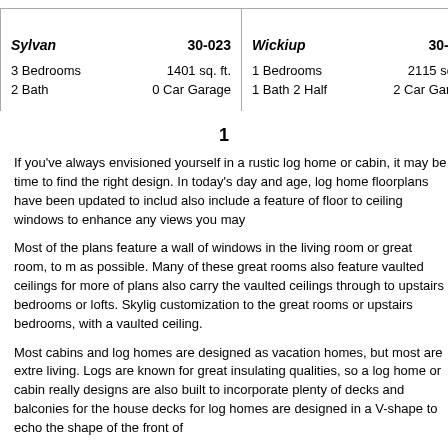| Plan Name | Plan Number | Bedrooms | Sq Ft | Bath | Garage |
| --- | --- | --- | --- | --- | --- |
| Sylvan | 30-023 | 3 Bedrooms | 1401 sq. ft. | 2 Bath | 0 Car Garage |
| Wickiup | 30-116 | 1 Bedrooms | 2115 sq. ft. | 1 Bath 2 Half | 2 Car Garage |
1
If you've always envisioned yourself in a rustic log home or cabin, it may be time to find the right design. In today's day and age, log home floorplans have been updated to include also include a feature of floor to ceiling windows to enhance any views you may
Most of the plans feature a wall of windows in the living room or great room, to m as possible. Many of these great rooms also feature vaulted ceilings for more of plans also carry the vaulted ceilings through to upstairs bedrooms or lofts. Skylig customization to the great rooms or upstairs bedrooms, with a vaulted ceiling.
Most cabins and log homes are designed as vacation homes, but most are extre living. Logs are known for great insulating qualities, so a log home or cabin really designs are also built to incorporate plenty of decks and balconies for the house decks for log homes are designed in a V-shape to echo the shape of the front of